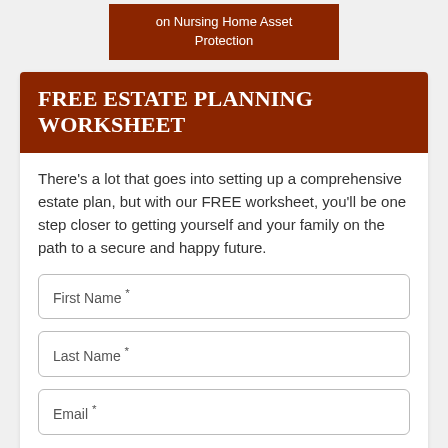on Nursing Home Asset Protection
FREE ESTATE PLANNING WORKSHEET
There's a lot that goes into setting up a comprehensive estate plan, but with our FREE worksheet, you'll be one step closer to getting yourself and your family on the path to a secure and happy future.
First Name *
Last Name *
Email *